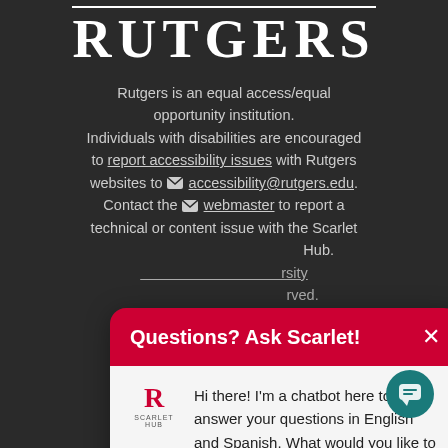RUTGERS
Rutgers is an equal access/equal opportunity institution. Individuals with disabilities are encouraged to report accessibility issues with Rutgers websites to accessibility@rutgers.edu. Contact the webmaster to report a technical or content issue with the Scarlet Hub.
[Figure (screenshot): Chatbot popup with header 'Questions? Ask Scarlet!' and message 'Hi there! I’m a chatbot here to answer your questions in English and Spanish. What would you like to know?']
[Figure (other): Teal circular chat launcher button in bottom right corner]